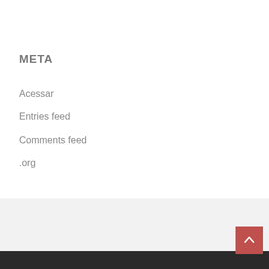META
Acessar
Entries feed
Comments feed
.org